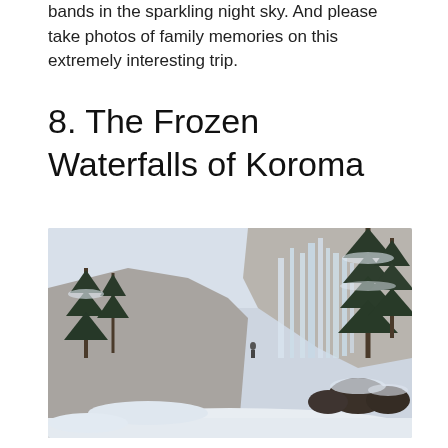bands in the sparkling night sky. And please take photos of family memories on this extremely interesting trip.
8. The Frozen Waterfalls of Koroma
[Figure (photo): A frozen waterfall landscape at Koroma. Large ice formations cascade down a rocky cliff face. Snow-covered trees and shrubs are visible on both sides. The scene is a wintry, pale blue-grey environment with icicles hanging from the rock face and a small human figure visible on the cliff for scale.]